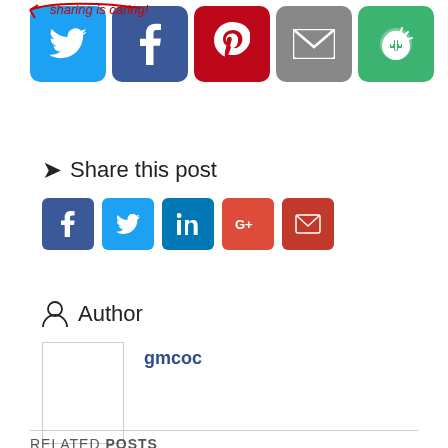[Figure (screenshot): Top portion showing social share icons (Twitter, Facebook, Pinterest, Email, Recycle/share) in colored rounded squares with a red handwritten arrow annotation above]
↪ Share this post
[Figure (infographic): Social share buttons row: Facebook (blue), Twitter (light blue), LinkedIn (dark blue), Google+ (red-orange), Email (red)]
Author
[Figure (photo): Author avatar placeholder image (empty white box with border)]
gmcoc
RELATED POSTS